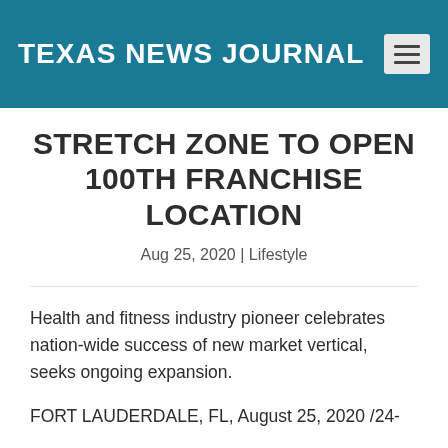TEXAS NEWS JOURNAL
STRETCH ZONE TO OPEN 100TH FRANCHISE LOCATION
Aug 25, 2020 | Lifestyle
Health and fitness industry pioneer celebrates nation-wide success of new market vertical, seeks ongoing expansion.
FORT LAUDERDALE, FL, August 25, 2020 /24-